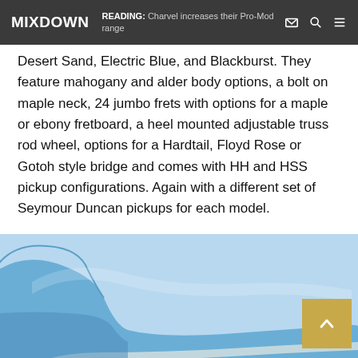MIXDOWN | READING: Charvel increases their Pro-Mod range
Desert Sand, Electric Blue, and Blackburst. They feature mahogany and alder body options, a bolt on maple neck, 24 jumbo frets with options for a maple or ebony fretboard, a heel mounted adjustable truss rod wheel, options for a Hardtail, Floyd Rose or Gotoh style bridge and comes with HH and HSS pickup configurations. Again with a different set of Seymour Duncan pickups for each model.
The new models in the pro-mod range will retail from AU$2,299 – $2.499.
[Figure (photo): A blue electric guitar body (Charvel Pro-Mod) photographed from the back/side angle, showing the blue finish with white binding. A back-to-top scroll button (gold/tan color with an upward chevron) is visible in the lower right corner.]